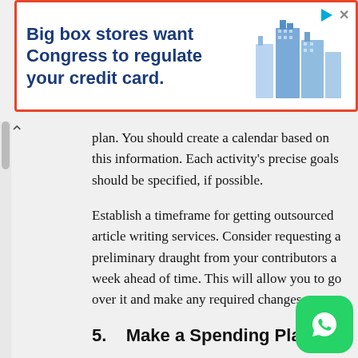[Figure (other): Advertisement banner: 'Big box stores want Congress to regulate your credit card.' with blue building illustration, red border, play and close icons]
plan. You should create a calendar based on this information. Each activity's precise goals should be specified, if possible.
Establish a timeframe for getting outsourced article writing services. Consider requesting a preliminary draught from your contributors a week ahead of time. This will allow you to go over it and make any required changes.
5.    Make a Spending Plan
You'll be able to know exactly what kind of pieces you need if you include the content strategy into an